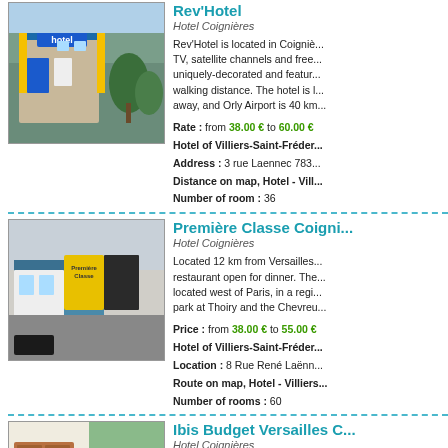[Figure (photo): Exterior photo of Rev'Hotel showing blue hotel sign and yellow accents]
Rev'Hotel
Hotel Coignières
Rev'Hotel is located in Coigniè... TV, satellite channels and free... uniquely-decorated and featur... walking distance. The hotel is l... away, and Orly Airport is 40 km...
Rate : from 38.00 € to 60.00 €
Hotel of Villiers-Saint-Fréder...
Address : 3 rue Laennec 783...
Distance on map, Hotel - Vill...
Number of room : 36
[Figure (photo): Exterior photo of Première Classe Coignières hotel with yellow signage]
Première Classe Coigni...
Hotel Coignières
Located 12 km from Versailles... restaurant open for dinner. The... located west of Paris, in a regi... park at Thoiry and the Chevreu...
Price : from 38.00 € to 55.00 €
Hotel of Villiers-Saint-Fréder...
Location : 8 Rue René Laënn...
Route on map, Hotel - Villiers...
Number of rooms : 60
[Figure (photo): Interior photo of Ibis Budget Versailles Coignières showing reception desk]
Ibis Budget Versailles C...
Hotel Coignières
Ibis Budget Versailles Coignier... star hotel has a terrace and a...